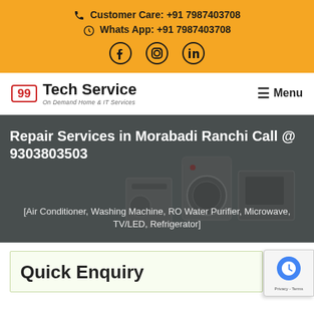Customer Care: +91 7987403708 | Whats App: +91 7987403708
[Figure (logo): 99 Tech Service logo — On Demand Home & IT Services]
Menu
Repair Services in Morabadi Ranchi Call @ 9303803503
[Air Conditioner, Washing Machine, RO Water Purifier, Microwave, TV/LED, Refrigerator]
Quick Enquiry